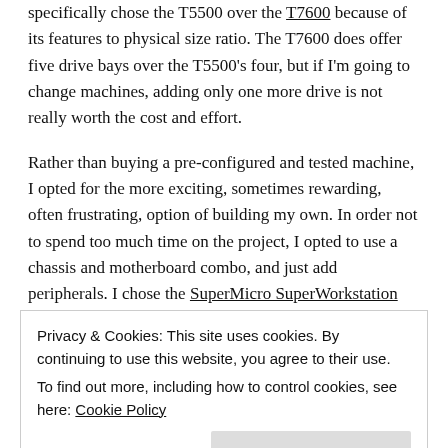specifically chose the T5500 over the T7600 because of its features to physical size ratio. The T7600 does offer five drive bays over the T5500's four, but if I'm going to change machines, adding only one more drive is not really worth the cost and effort.
Rather than buying a pre-configured and tested machine, I opted for the more exciting, sometimes rewarding, often frustrating, option of building my own. In order not to spend too much time on the project, I opted to use a chassis and motherboard combo, and just add peripherals. I chose the SuperMicro SuperWorkstation 7047A-T...
Privacy & Cookies: This site uses cookies. By continuing to use this website, you agree to their use.
To find out more, including how to control cookies, see here: Cookie Policy
Close and accept
memory, two Xeon E5-2660 processors, and an NVidia...